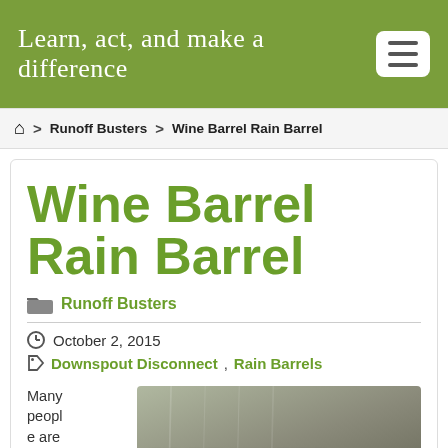Learn, act, and make a difference
🏠 > Runoff Busters > Wine Barrel Rain Barrel
Wine Barrel Rain Barrel
Runoff Busters
October 2, 2015
Downspout Disconnect, Rain Barrels
Many people are
[Figure (photo): Image with bold text 'FREE WATER' overlaid on a grey background showing a rain barrel or downspout.]